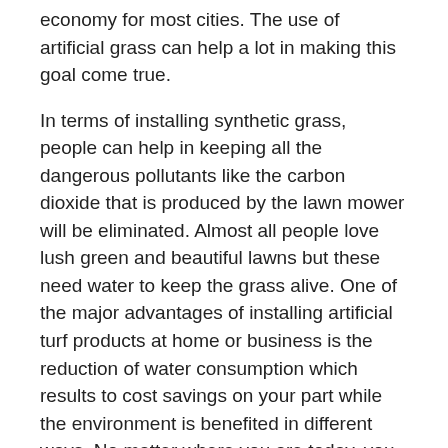economy for most cities. The use of artificial grass can help a lot in making this goal come true.
In terms of installing synthetic grass, people can help in keeping all the dangerous pollutants like the carbon dioxide that is produced by the lawn mower will be eliminated. Almost all people love lush green and beautiful lawns but these need water to keep the grass alive. One of the major advantages of installing artificial turf products at home or business is the reduction of water consumption which results to cost savings on your part while the environment is benefited in different ways. No matter where you are today, you can surely help in conserving the water supply by making your lawn artificial.
When you make a switch to artificial grass, you can: